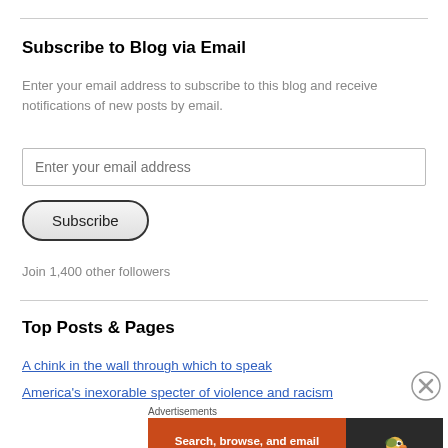Subscribe to Blog via Email
Enter your email address to subscribe to this blog and receive notifications of new posts by email.
Enter your email address
Subscribe
Join 1,400 other followers
Top Posts & Pages
A chink in the wall through which to speak
America's inexorable specter of violence and racism
[Figure (screenshot): DuckDuckGo advertisement banner with orange left section reading 'Search, browse, and email with more privacy. All in One Free App' and dark right section with DuckDuckGo duck logo]
Advertisements